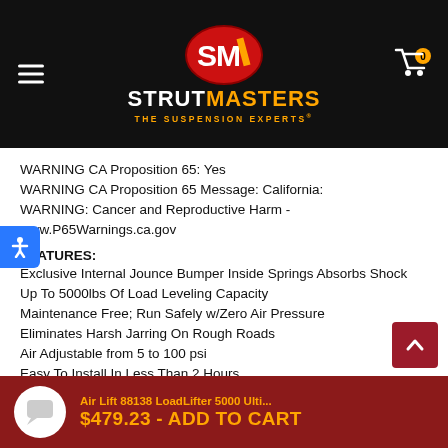[Figure (logo): Strutmasters logo — red oval with SM initials, brand name STRUTMASTERS in white/orange, tagline THE SUSPENSION EXPERTS in orange]
WARNING CA Proposition 65: Yes
WARNING CA Proposition 65 Message: California: WARNING: Cancer and Reproductive Harm - www.P65Warnings.ca.gov
FEATURES:
Exclusive Internal Jounce Bumper Inside Springs Absorbs Shock
Up To 5000lbs Of Load Leveling Capacity
Maintenance Free; Run Safely w/Zero Air Pressure
Eliminates Harsh Jarring On Rough Roads
Air Adjustable from 5 to 100 psi
Easy To Install In Less Than 2 Hours
Air Lift 88138 LoadLifter 5000 Ulti...
$479.23 - ADD TO CART